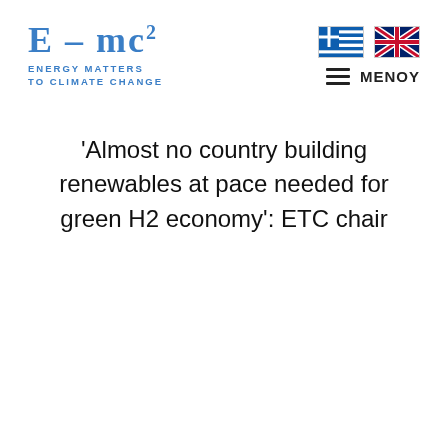[Figure (logo): E=mc2 logo with tagline ENERGY MATTERS TO CLIMATE CHANGE in blue handwritten style]
[Figure (logo): Greek flag and UK flag icons for language selection, and hamburger menu with MENOY text]
'Almost no country building renewables at pace needed for green H2 economy': ETC chair